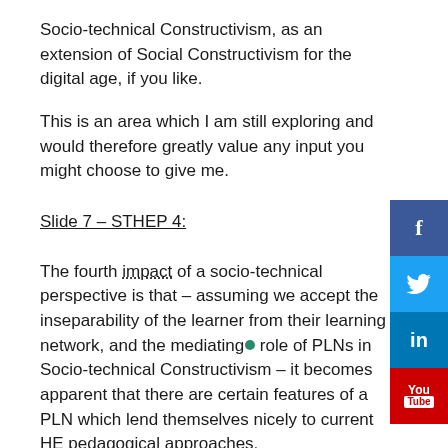Socio-technical Constructivism, as an extension of Social Constructivism for the digital age, if you like.
This is an area which I am still exploring and would therefore greatly value any input you might choose to give me.
Slide 7 – STHEP 4:
The fourth impact of a socio-technical perspective is that – assuming we accept the inseparability of the learner from their learning network, and the mediating role of PLNs in Socio-technical Constructivism – it becomes apparent that there are certain features of a PLN which lend themselves nicely to current HE pedagogical approaches.
Firstly, PLNs are autonomously created according to